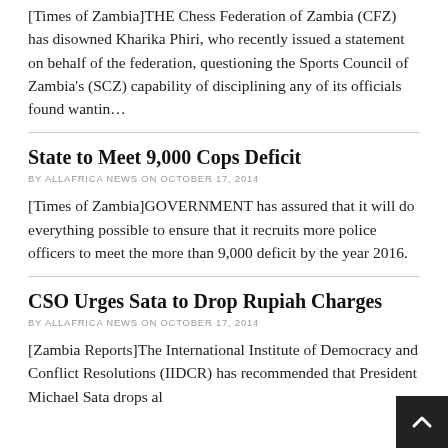[Times of Zambia]THE Chess Federation of Zambia (CFZ) has disowned Kharika Phiri, who recently issued a statement on behalf of the federation, questioning the Sports Council of Zambia's (SCZ) capability of disciplining any of its officials found wantin…
State to Meet 9,000 Cops Deficit
BY ALLAFRICA NEWS ON OCTOBER 17, 2014
[Times of Zambia]GOVERNMENT has assured that it will do everything possible to ensure that it recruits more police officers to meet the more than 9,000 deficit by the year 2016.
CSO Urges Sata to Drop Rupiah Charges
BY ALLAFRICA NEWS ON OCTOBER 17, 2014
[Zambia Reports]The International Institute of Democracy and Conflict Resolutions (IIDCR) has recommended that President Michael Sata drops al…